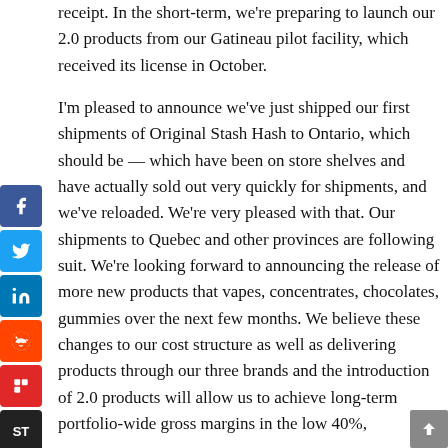receipt. In the short-term, we're preparing to launch our 2.0 products from our Gatineau pilot facility, which received its license in October.
I'm pleased to announce we've just shipped our first shipments of Original Stash Hash to Ontario, which should be — which have been on store shelves and have actually sold out very quickly for shipments, and we've reloaded. We're very pleased with that. Our shipments to Quebec and other provinces are following suit. We're looking forward to announcing the release of more new products that vapes, concentrates, chocolates, gummies over the next few months. We believe these changes to our cost structure as well as delivering products through our three brands and the introduction of 2.0 products will allow us to achieve long-term portfolio-wide gross margins in the low 40%,
[Figure (other): Social media sharing sidebar with icons: Facebook (blue), Twitter (light blue), LinkedIn (dark blue), Reddit (orange), Flipboard (red), SmartType/ST (dark)]